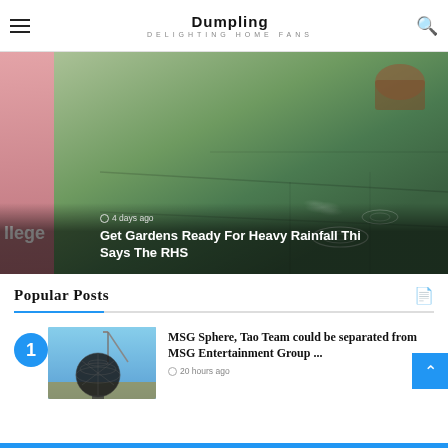Featured Posts
Dumpling DELIGHTING HOME FANS
[Figure (photo): Featured article hero image showing a rain-wet garden with ripples in puddles on stone slabs and green plants; left edge shows a pink close-up image]
4 days ago
Get Gardens Ready For Heavy Rainfall Thi Says The RHS
Popular Posts
[Figure (photo): Thumbnail photo of the MSG Sphere building under construction against a blue sky]
MSG Sphere, Tao Team could be separated from MSG Entertainment Group ...
20 hours ago